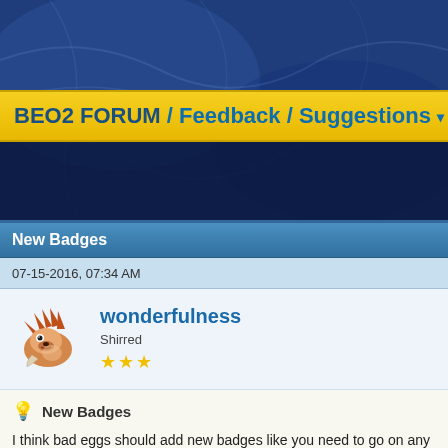BEO2 FORUM / Feedback / Suggestions / New
New Badges
07-15-2016, 07:34 AM
wonderfulness
Shirred
★★★
New Badges
I think bad eggs should add new badges like you need to go on any map
And some you need to go to join friends when your just about to go make the 3 dragons (the computer controls the dragon) that are quite tricky to